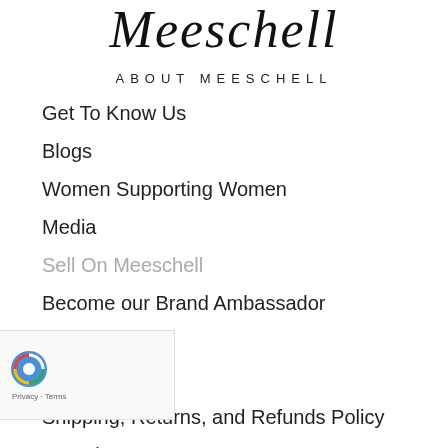Meeschell
ABOUT MEESCHELL
Get To Know Us
Blogs
Women Supporting Women
Media
Sell On Meeschell
Become our Brand Ambassador
Contact Us
Privacy Policy
Shipping, Returns, and Refunds Policy
Questions? We Have Answers!
Terms & Conditions